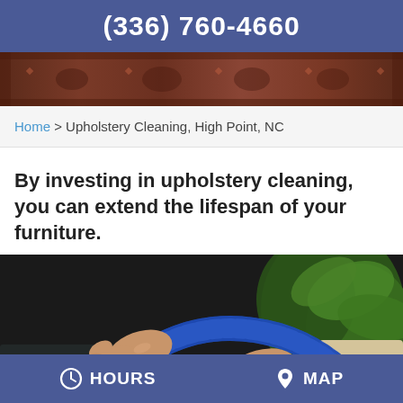(336) 760-4660
[Figure (photo): Decorative rug/carpet banner image at the top of the page]
Home > Upholstery Cleaning, High Point, NC
By investing in upholstery cleaning, you can extend the lifespan of your furniture.
[Figure (photo): Close-up photo of hands holding a blue corrugated vacuum hose being used to clean upholstery furniture]
HOURS   MAP